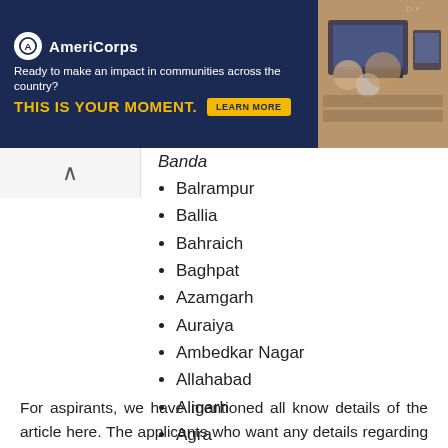[Figure (other): AmeriCorps advertisement banner with dark navy blue background. Logo with circle and 'A', tagline 'Ready to make an impact in communities across the country?', bold yellow text 'THIS IS YOUR MOMENT.', yellow 'LEARN MORE' button, and photo of people at computers on the right.]
Banda (partial, italic)
Balrampur
Ballia
Bahraich
Baghpat
Azamgarh
Auraiya
Ambedkar Nagar
Allahabad
Aligarh
Agra
For aspirants, we have mentioned all know details of the article here. The applicants who want any details regarding can go through the